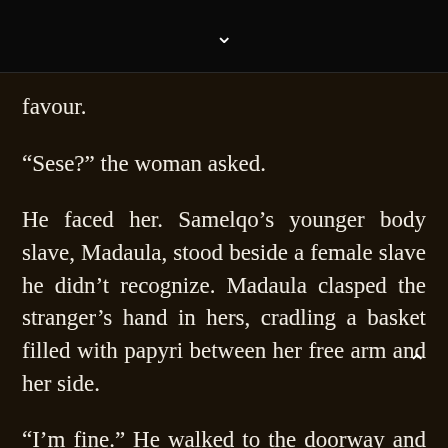[Figure (other): Dark navigation bar at top with a downward chevron arrow (v) in white centered in a black bar]
favour.
“Sese?” the woman asked.
He faced her. Samelqo’s younger body slave, Madaula, stood beside a female slave he didn’t recognize. Madaula clasped the stranger’s hand in hers, cradling a basket filled with papyri between her free arm and her side.
“I’m fine.” He walked to the doorway and returned the basin to its stand. As he did